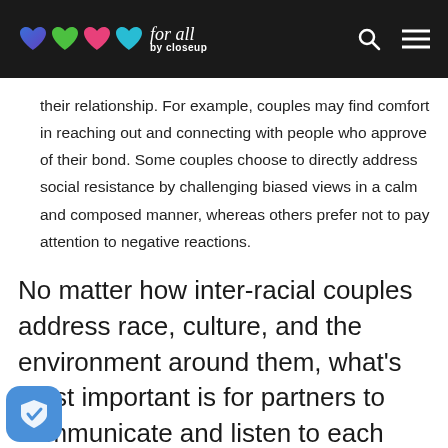Love for all by closeup
their relationship. For example, couples may find comfort in reaching out and connecting with people who approve of their bond. Some couples choose to directly address social resistance by challenging biased views in a calm and composed manner, whereas others prefer not to pay attention to negative reactions.
No matter how inter-racial couples address race, culture, and the environment around them, what's most important is for partners to communicate and listen to each other as they remain mindful of what truly works for them.
[Figure (logo): Blue shield with white checkmark icon in bottom left corner]